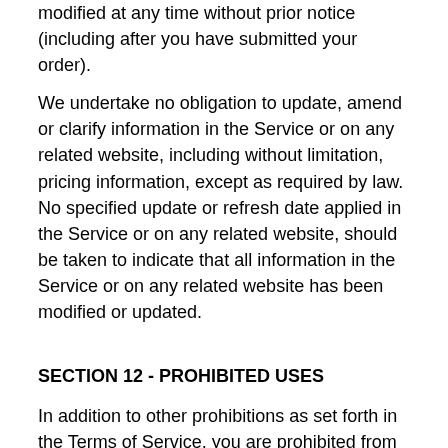modified at any time without prior notice (including after you have submitted your order).
We undertake no obligation to update, amend or clarify information in the Service or on any related website, including without limitation, pricing information, except as required by law. No specified update or refresh date applied in the Service or on any related website, should be taken to indicate that all information in the Service or on any related website has been modified or updated.
SECTION 12 - PROHIBITED USES
In addition to other prohibitions as set forth in the Terms of Service, you are prohibited from using the site or its content: (a) for any unlawful purpose; (b) to solicit others to perform or participate in any unlawful acts; (c) to violate any international, federal, provincial or state regulations, rules, laws, or local ordinances; (d) to infringe upon or violate our intellectual property rights or the intellectual property rights of others; (e) to harass, abuse, insult, harm, defame, slander, disparage, intimidate, or discriminate